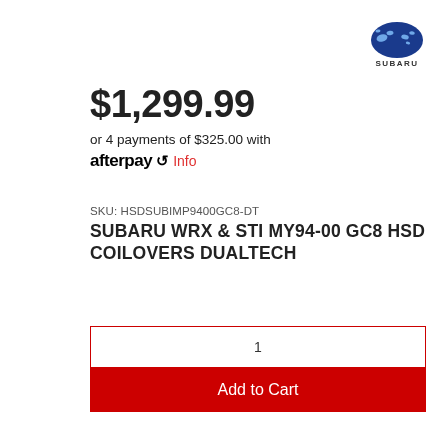[Figure (logo): Subaru logo — blue star cluster emblem with SUBARU text below]
$1,299.99
or 4 payments of $325.00 with afterpay Info
SKU: HSDSUBIMP9400GC8-DT
SUBARU WRX & STI MY94-00 GC8 HSD COILOVERS DUALTECH
1
Add to Cart